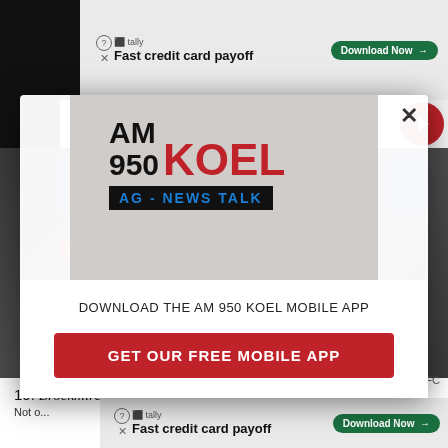[Figure (screenshot): AM 950 KOEL radio website screenshot with modal popup overlay. Top ad banner shows Tally 'Fast credit card payoff' with Download Now button. Navigation bar shows AM 950 KOEL logo with hamburger menu. Modal popup contains AM 950 KOEL AG-News Talk logo and call to download the mobile app with red 'GET OUR FREE MOBILE APP' button. Bottom shows partial article text '10. Brockmire' and another Tally ad.]
DOWNLOAD THE AM 950 KOEL MOBILE APP
GET OUR FREE MOBILE APP
IFC
10. Brockmire
Not o...